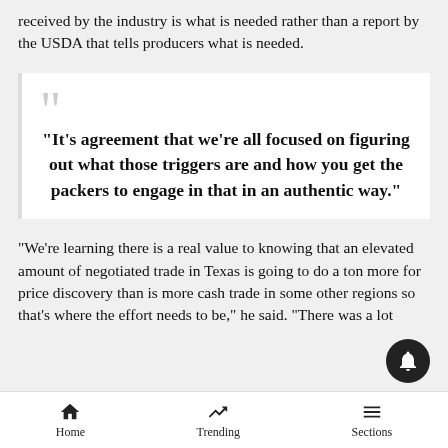received by the industry is what is needed rather than a report by the USDA that tells producers what is needed.
“It’s agreement that we’re all focused on figuring out what those triggers are and how you get the packers to engage in that in an authentic way.”
“We’re learning there is a real value to knowing that an elevated amount of negotiated trade in Texas is going to do a ton more for price discovery than is more cash trade in some other regions so that’s where the effort needs to be,” he said. “There was a lot
Home   Trending   Sections